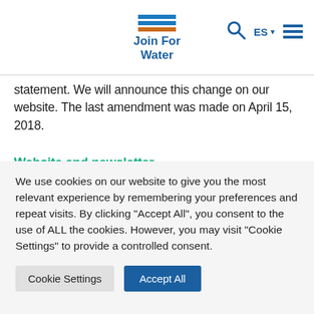Join For Water
statement. We will announce this change on our website. The last amendment was made on April 15, 2018.
Website and newsletter
Collected data
The personal data collected on this site are managed by Join For Water – and only by Join For Water. With each
We use cookies on our website to give you the most relevant experience by remembering your preferences and repeat visits. By clicking “Accept All”, you consent to the use of ALL the cookies. However, you may visit "Cookie Settings" to provide a controlled consent.